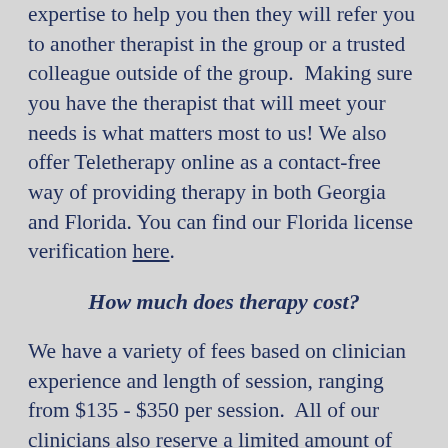expertise to help you then they will refer you to another therapist in the group or a trusted colleague outside of the group.  Making sure you have the therapist that will meet your needs is what matters most to us! We also offer Teletherapy online as a contact-free way of providing therapy in both Georgia and Florida. You can find our Florida license verification here.
How much does therapy cost?
We have a variety of fees based on clinician experience and length of session, ranging from $135 - $350 per session.  All of our clinicians also reserve a limited amount of sessions for clients in need of a sliding scale rate.
Payment is due at the time of service,